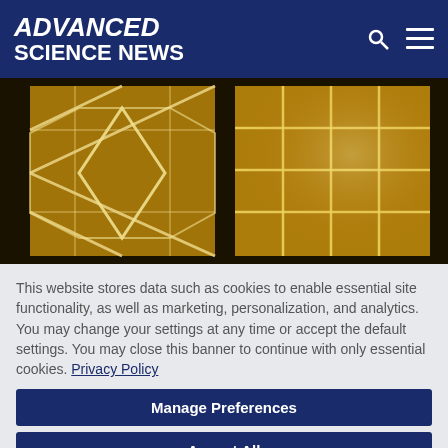ADVANCED SCIENCE NEWS
[Figure (photo): Two translucent polymer or glass panels photographed under warm amber/yellow lighting. The left panel shows a diamond/diagonal grid pattern; the right panel shows a rectangular grid pattern.]
This website stores data such as cookies to enable essential site functionality, as well as marketing, personalization, and analytics. You may change your settings at any time or accept the default settings. You may close this banner to continue with only essential cookies. Privacy Policy
Manage Preferences
Accept All
Reject All